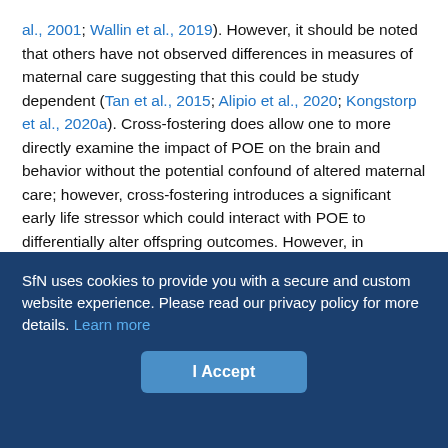al., 2001; Wallin et al., 2019). However, it should be noted that others have not observed differences in measures of maternal care suggesting that this could be study dependent (Tan et al., 2015; Alipio et al., 2020; Kongstorp et al., 2020a). Cross-fostering does allow one to more directly examine the impact of POE on the brain and behavior without the potential confound of altered maternal care; however, cross-fostering introduces a significant early life stressor which could interact with POE to differentially alter offspring outcomes. However, in humans, rates of out-of-home care (e.g., foster care or kinship care) among children with POE reportedly range from 20% to 72% (Yeoh et al., 2019); therefore, cross-fostering in preclinical models may be an aspect of clinical relevance worth considering.
SfN uses cookies to provide you with a secure and custom website experience. Please read our privacy policy for more details. Learn more